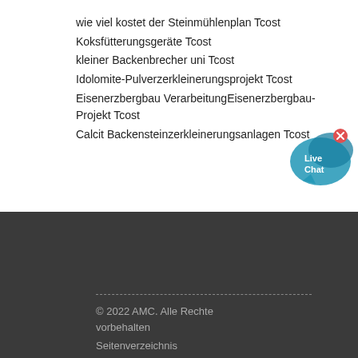wie viel kostet der Steinmühlenplan Tcost
Koksfütterungsgeräte Tcost
kleiner Backenbrecher uni Tcost
Idolomite-Pulverzerkleinerungsprojekt Tcost
Eisenerzbergbau VerarbeitungEisenerzbergbau-Projekt Tcost
Calcit Backensteinzerkleinerungsanlagen Tcost
[Figure (illustration): Live Chat widget button with blue speech bubble and close icon]
© 2022 AMC. Alle Rechte vorbehalten
Seitenverzeichnis